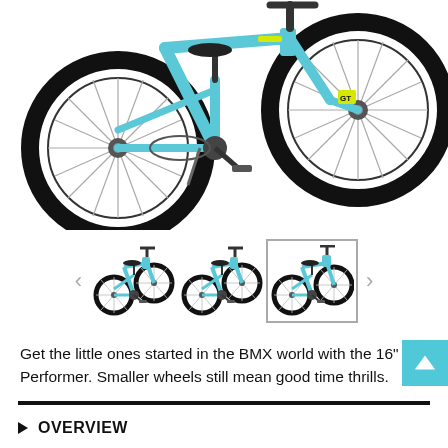[Figure (photo): Large main product image of a teal/light blue BMX bike (16" Lil Performer) showing the rear wheel, frame, pedals, and front wheel against white background.]
[Figure (photo): Three thumbnail images of the same teal BMX bike from different angles, with left and right navigation arrows on either side.]
Get the little ones started in the BMX world with the 16" Lil Performer. Smaller wheels still mean good time thrills.
OVERVIEW